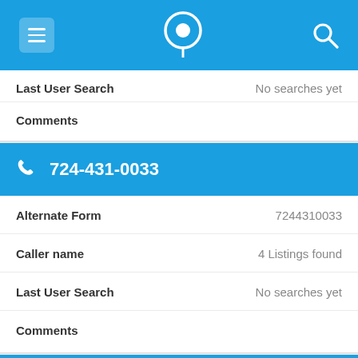Navigation bar with menu, phone-pin icon, and search icon
Last User Search   No searches yet
Comments
724-431-0033
Alternate Form   7244310033
Caller name   4 Listings found
Last User Search   No searches yet
Comments
724-431-0581